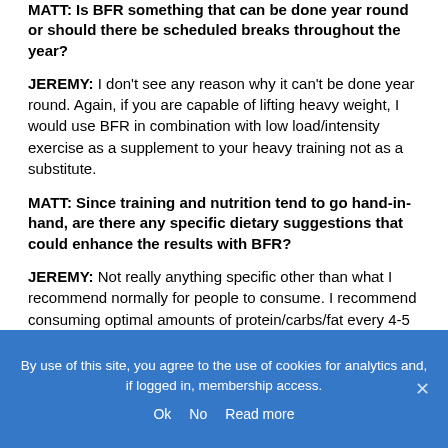MATT: Is BFR something that can be done year round or should there be scheduled breaks throughout the year?
JEREMY: I don't see any reason why it can't be done year round. Again, if you are capable of lifting heavy weight, I would use BFR in combination with low load/intensity exercise as a supplement to your heavy training not as a substitute.
MATT: Since training and nutrition tend to go hand-in-hand, are there any specific dietary suggestions that could enhance the results with BFR?
JEREMY: Not really anything specific other than what I recommend normally for people to consume. I recommend consuming optimal amounts of protein/carbs/fat every 4-5 hours throughout the day (~3-4 meals a day). Obviously those amounts are going to depend largely on the person's current metabolism. If you do that throughout the day and train at some point between one of those
By use of this site, you agree to the use of cookies for analytics and, if logged in, membership access. Ok No Read more